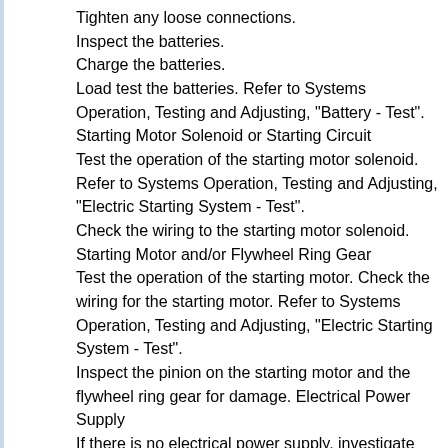Tighten any loose connections.
Inspect the batteries.
Charge the batteries.
Load test the batteries. Refer to Systems Operation, Testing and Adjusting, "Battery - Test". Starting Motor Solenoid or Starting Circuit
Test the operation of the starting motor solenoid. Refer to Systems Operation, Testing and Adjusting, "Electric Starting System - Test".
Check the wiring to the starting motor solenoid. Starting Motor and/or Flywheel Ring Gear
Test the operation of the starting motor. Check the wiring for the starting motor. Refer to Systems Operation, Testing and Adjusting, "Electric Starting System - Test".
Inspect the pinion on the starting motor and the flywheel ring gear for damage. Electrical Power Supply
If there is no electrical power supply, investigate the cause and rectify any defects. Refer to Systems Operation, Testing and Adjusting, "Charging System - Test".Internal Engine Fault
Remove the glow plugs. Refer to Disassembly and Assembly,